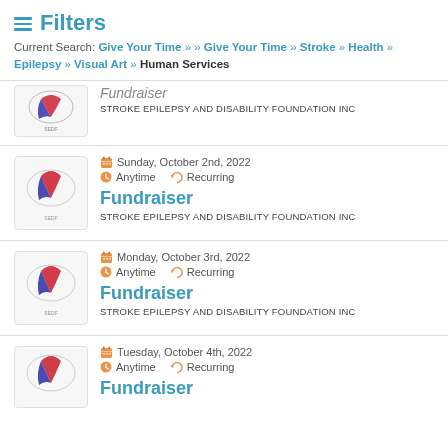Filters
Current Search: Give Your Time » » Give Your Time » Stroke » Health » Epilepsy » Visual Art » Human Services
Fundraiser | STROKE EPILEPSY AND DISABILITY FOUNDATION INC (partial, top)
Sunday, October 2nd, 2022 | Anytime | Recurring | Fundraiser | STROKE EPILEPSY AND DISABILITY FOUNDATION INC
Monday, October 3rd, 2022 | Anytime | Recurring | Fundraiser | STROKE EPILEPSY AND DISABILITY FOUNDATION INC
Tuesday, October 4th, 2022 | Anytime | Recurring | Fundraiser | STROKE EPILEPSY AND DISABILITY FOUNDATION INC (partial, bottom)